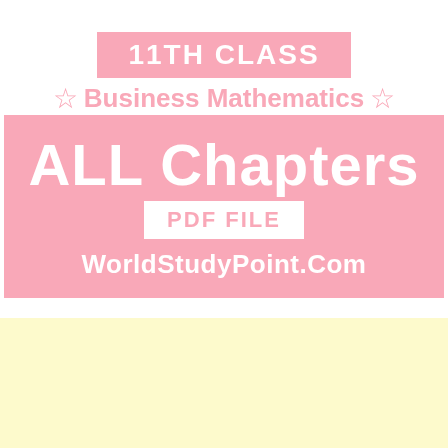11TH CLASS
☆Business Mathematics☆
ALL Chapters PDF FILE WorldStudyPoint.Com